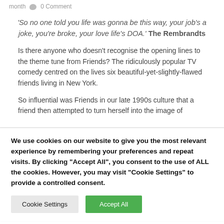month  0 Comment
'So no one told you life was gonna be this way, your job's a joke, you're broke, your love life's DOA.' The Rembrandts
Is there anyone who doesn't recognise the opening lines to the theme tune from Friends? The ridiculously popular TV comedy centred on the lives six beautiful-yet-slightly-flawed friends living in New York.
So influential was Friends in our late 1990s culture that a friend then attempted to turn herself into the image of
We use cookies on our website to give you the most relevant experience by remembering your preferences and repeat visits. By clicking "Accept All", you consent to the use of ALL the cookies. However, you may visit "Cookie Settings" to provide a controlled consent.